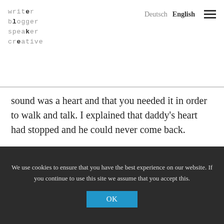writer blogger speaker creative | Deutsch | English
sound was a heart and that you needed it in order to walk and talk. I explained that daddy's heart had stopped and he could never come back.
“Alex said he didn’t want him to go. He asked where he was. I said some people like to think of dead people as up in the sky like a cloud or a star but Alex said he didn’t want him to be a star and
We use cookies to ensure that you have the best experience on our website. If you continue to use this site we assume that you accept this.